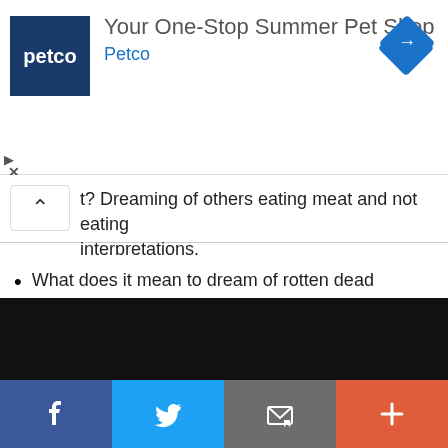[Figure (screenshot): Petco advertisement banner: 'Your One-Stop Summer Pet Shop' with Petco logo (blue square with petco text) and blue diamond navigation icon]
t? Dreaming of others eating meat and not eating interpretations.
What does it mean to dream of rotten dead corpses? Dreaming of the rotten dead corpse interpretations.
[Figure (screenshot): Black footer bar and social sharing bar with Facebook, Twitter, email/message, and plus buttons]